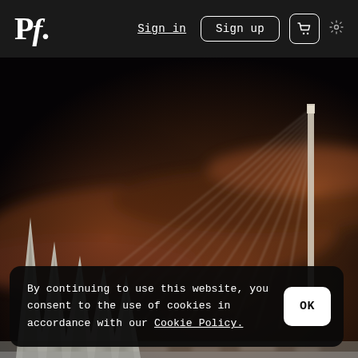Pf. | Sign in | Sign up | cart | settings
[Figure (photo): Dark atmospheric night photo of an illuminated cable-stayed bridge with sharp architectural spires on the left and a tall central pylon with cables stretching to the right, against a dramatic deep brown and black sky with light streaks]
By continuing to use this website, you consent to the use of cookies in accordance with our Cookie Policy.